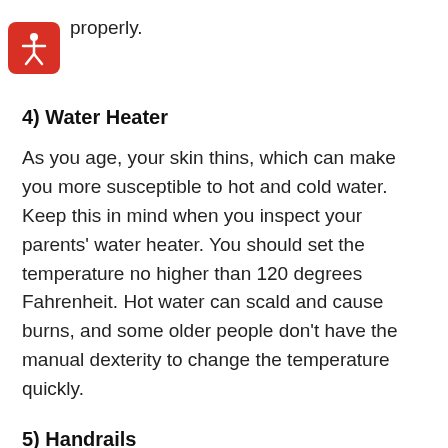[Figure (logo): Red rounded square icon with a white accessibility/person figure (vitruvian man style)]
properly.
4) Water Heater
As you age, your skin thins, which can make you more susceptible to hot and cold water. Keep this in mind when you inspect your parents' water heater. You should set the temperature no higher than 120 degrees Fahrenheit. Hot water can scald and cause burns, and some older people don't have the manual dexterity to change the temperature quickly.
5) Handrails
In their later years, your parents rely